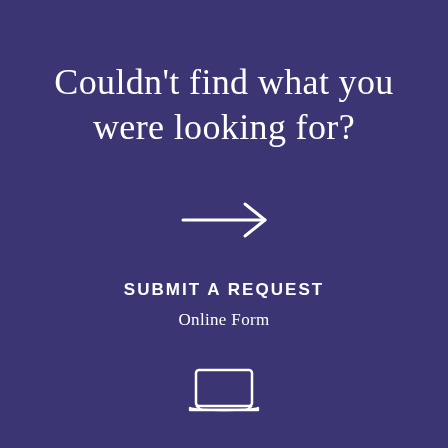Couldn't find what you were looking for?
[Figure (illustration): A right-pointing arrow (→) in white, centered on the page]
SUBMIT A REQUEST
Online Form
[Figure (illustration): A simple white outline icon of a laptop computer]